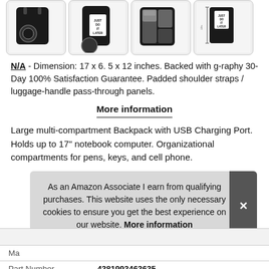[Figure (photo): Four thumbnail product photos of a black backpack with 'Just Do It Later' text, showing different angles and compartments.]
N/A - Dimension: 17 x 6. 5 x 12 inches. Backed with g-raphy 30-Day 100% Satisfaction Guarantee. Padded shoulder straps / luggage-handle pass-through panels.
More information
Large multi-compartment Backpack with USB Charging Port. Holds up to 17" notebook computer. Organizational compartments for pens, keys, and cell phone.
As an Amazon Associate I earn from qualifying purchases. This website uses the only necessary cookies to ensure you get the best experience on our website. More information
|  |  |
| --- | --- |
| Ma |  |
| Part Number | 4381993463635 |